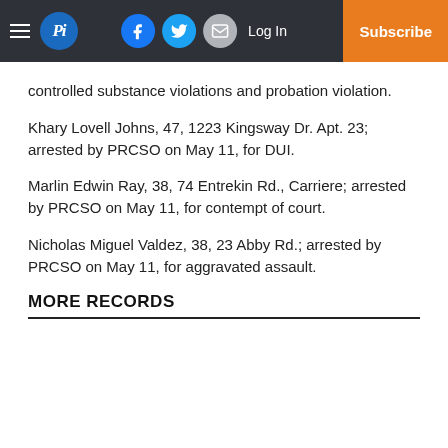Pi — Log In — Subscribe (navigation bar)
controlled substance violations and probation violation.
Khary Lovell Johns, 47, 1223 Kingsway Dr. Apt. 23; arrested by PRCSO on May 11, for DUI.
Marlin Edwin Ray, 38, 74 Entrekin Rd., Carriere; arrested by PRCSO on May 11, for contempt of court.
Nicholas Miguel Valdez, 38, 23 Abby Rd.; arrested by PRCSO on May 11, for aggravated assault.
MORE RECORDS